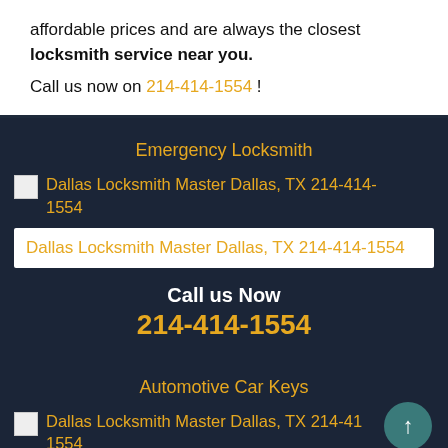affordable prices and are always the closest locksmith service near you.
Call us now on 214-414-1554 !
Emergency Locksmith
[Figure (photo): Broken image placeholder for Dallas Locksmith Master Dallas, TX 214-414-1554]
Dallas Locksmith Master Dallas, TX 214-414-1554
Call us Now 214-414-1554
Automotive Car Keys
[Figure (photo): Broken image placeholder for Dallas Locksmith Master Dallas, TX 214-414-1554]
Dallas Locksmith Master Dallas, TX 214-414-1554